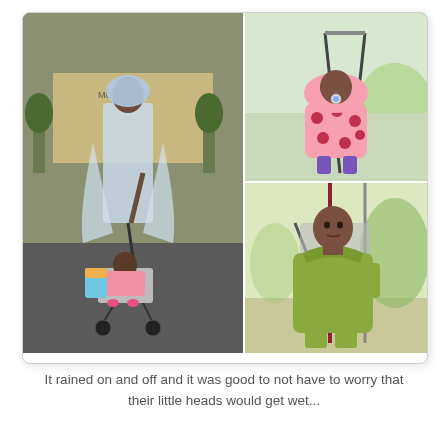[Figure (photo): Photo collage of three images: left large photo shows an adult pushing a child in a stroller outdoors at a theme park while wearing a clear rain poncho; top right shows a toddler in a pink polka-dot rain jacket sitting in a stroller with a pacifier; bottom right shows a boy in a green rain jacket sitting in a stroller indoors near a mural.]
It rained on and off and it was good to not have to worry that their little heads would get wet...